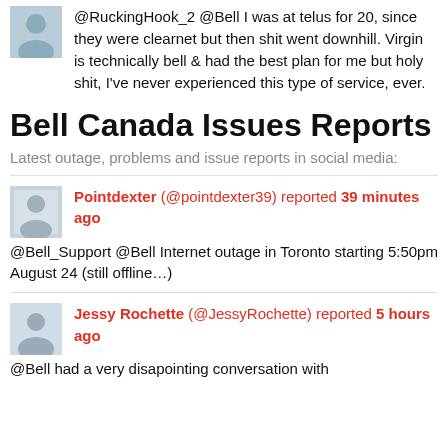@RuckingHook_2 @Bell I was at telus for 20, since they were clearnet but then shit went downhill. Virgin is technically bell & had the best plan for me but holy shit, I've never experienced this type of service, ever.
Bell Canada Issues Reports
Latest outage, problems and issue reports in social media:
Pointdexter (@pointdexter39) reported 39 minutes ago
@Bell_Support @Bell Internet outage in Toronto starting 5:50pm August 24 (still offline…)
Jessy Rochette (@JessyRochette) reported 5 hours ago
@Bell had a very disapointing conversation with